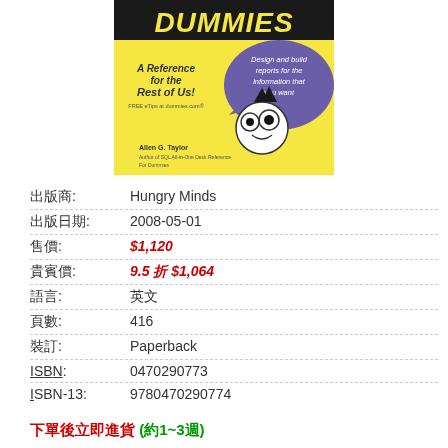[Figure (illustration): Book cover for a 'Dummies' series book about SQL or database reporting, showing the iconic Dummies character with big glasses, yellow and black cover with purple speech bubble reading 'Design and build reports for the information that you want', text 'A Reference for the Rest of Us! FREE eTips at dummies.com', author Allen G. Taylor]
| 出版商: | Hungry Minds |
| 出版日期: | 2008-05-01 |
| 售價: | $1,120 |
| 貴賓價: | 9.5 折 $1,064 |
| 語言: | 英文 |
| 頁數: | 416 |
| 裝訂: | Paperback |
| ISBN: | 0470290773 |
| ISBN-13: | 9780470290774 |
下單後立即進貨 (約1~3週)